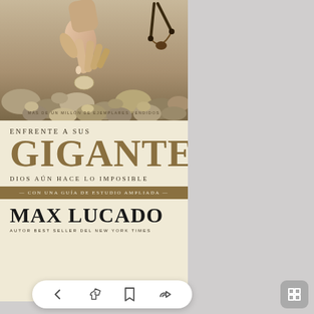[Figure (photo): Book cover of 'Enfrente a Sus Gigantes' by Max Lucado. Top portion shows a photograph of a hand picking up a smooth stone from among many pebbles/rocks, with a slingshot visible in the upper right. Below the photo is a cream/beige background with the title text. The book features large gold/olive colored text for the main title GIGANTES, with subtitle lines and author name Max Lucado at the bottom.]
ENFRENTE A SUS GIGANTES
DIOS AÚN HACE LO IMPOSIBLE
CON UNA GUÍA DE ESTUDIO AMPLIADA
MAX LUCADO
AUTOR BEST SELLER DEL NEW YORK TIMES
MÁS DE UN MILLÓN DE EJEMPLARES VENDIDOS